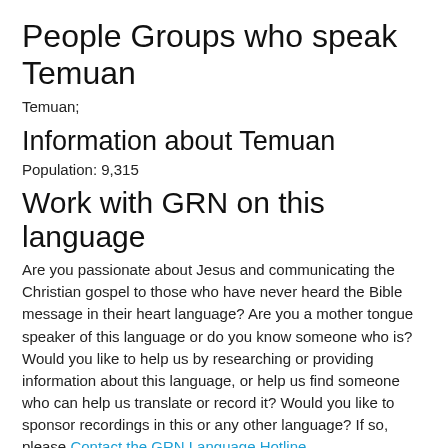People Groups who speak Temuan
Temuan;
Information about Temuan
Population: 9,315
Work with GRN on this language
Are you passionate about Jesus and communicating the Christian gospel to those who have never heard the Bible message in their heart language? Are you a mother tongue speaker of this language or do you know someone who is? Would you like to help us by researching or providing information about this language, or help us find someone who can help us translate or record it? Would you like to sponsor recordings in this or any other language? If so, please Contact the GRN Language Hotline.